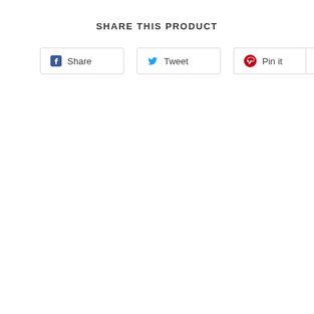SHARE THIS PRODUCT
[Figure (screenshot): Social share buttons: Facebook Share, Twitter Tweet, Pinterest Pin it with count 17]